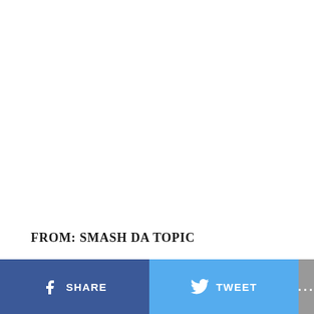FROM: SMASH DA TOPIC
SHARE   TWEET   ...